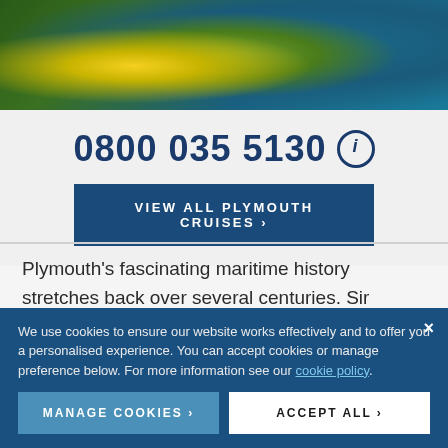[Figure (photo): Coastal landscape photo with yellow flowering shrubs and blue sea water in the background]
0800 035 5130 ℹ
VIEW ALL PLYMOUTH CRUISES ›
Plymouth's fascinating maritime history stretches back over several centuries. Sir Francis Drake, Charles Darwin and Captain James Cook are just a few of the famous explorers which used Plymouth as a base for some of the
We use cookies to ensure our website works effectively and to offer you a personalised experience. You can accept cookies or manage preference below. For more information see our cookie policy.
MANAGE COOKIES ›
ACCEPT ALL ›